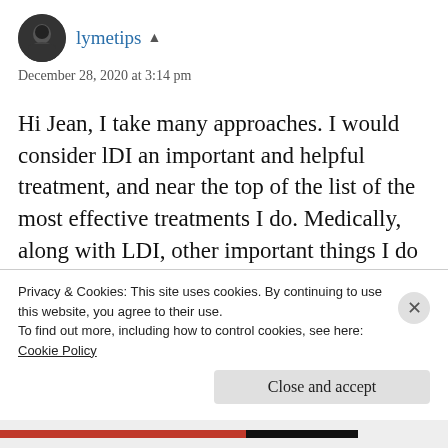[Figure (photo): Circular avatar photo of user lymetips, dark-toned portrait]
lymetips ▲
December 28, 2020 at 3:14 pm
Hi Jean, I take many approaches. I would consider lDI an important and helpful treatment, and near the top of the list of the most effective treatments I do. Medically, along with LDI, other important things I do are low dose naltrexone, the herb Samento, transfer factor, B vitamin shots, magnesium shots, various other supplements and herbs
Privacy & Cookies: This site uses cookies. By continuing to use this website, you agree to their use.
To find out more, including how to control cookies, see here: Cookie Policy
Close and accept